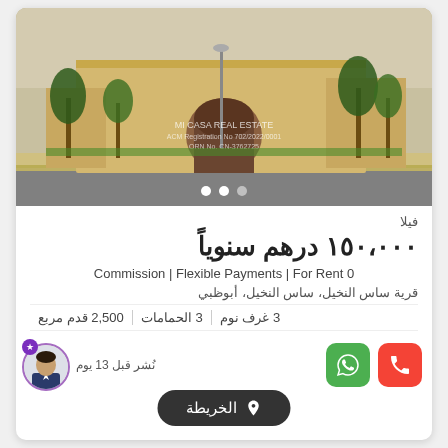[Figure (photo): Exterior photo of a villa building with palm trees, yellow/beige walls, arched entrance, and a watermark reading MI CASA REAL ESTATE with ACM Registration and ORN numbers]
فيلا
١٥٠،٠٠٠ درهم سنوياً
Commission | Flexible Payments | For Rent 0
قرية ساس النخيل، ساس النخيل، أبوظبي
3 غرف نوم  |  3 الحمامات  |  2,500 قدم مربع
نُشر قبل 13 يوم
الخريطة